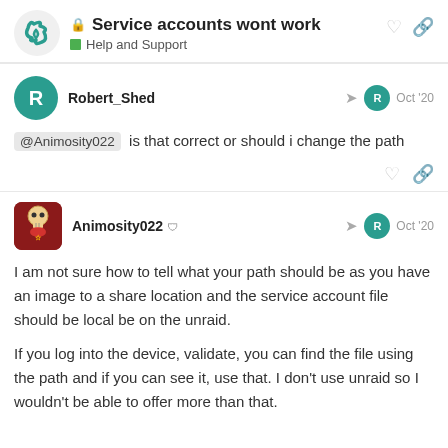Service accounts wont work — Help and Support
Robert_Shed Oct '20
@Animosity022 is that correct or should i change the path
Animosity022 Oct '20
I am not sure how to tell what your path should be as you have an image to a share location and the service account file should be local be on the unraid.
If you log into the device, validate, you can find the file using the path and if you can see it, use that. I don't use unraid so I wouldn't be able to offer more than that.